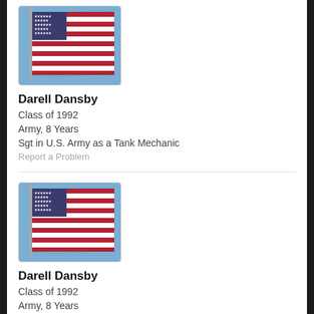[Figure (photo): American flag waving against blue sky, profile photo placeholder]
Darell Dansby
Class of 1992
Army, 8 Years
Sgt in U.S. Army as a Tank Mechanic
Report a Problem
[Figure (photo): American flag waving against blue sky, profile photo placeholder]
Darell Dansby
Class of 1992
Army, 8 Years